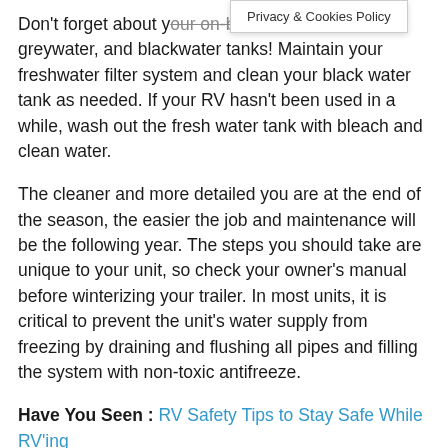Privacy & Cookies Policy
Don't forget about your on-board freshwater, greywater, and blackwater tanks! Maintain your freshwater filter system and clean your black water tank as needed. If your RV hasn't been used in a while, wash out the fresh water tank with bleach and clean water.
The cleaner and more detailed you are at the end of the season, the easier the job and maintenance will be the following year. The steps you should take are unique to your unit, so check your owner's manual before winterizing your trailer. In most units, it is critical to prevent the unit's water supply from freezing by draining and flushing all pipes and filling the system with non-toxic antifreeze.
Have You Seen : RV Safety Tips to Stay Safe While RV'ing